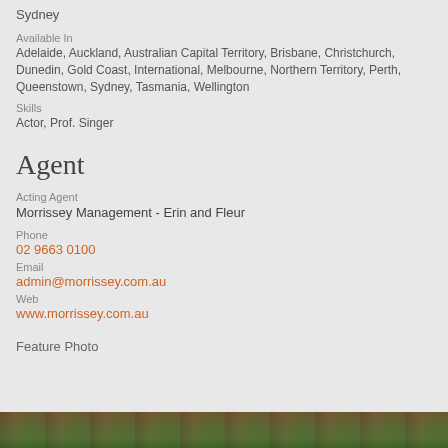Sydney
Available In
Adelaide, Auckland, Australian Capital Territory, Brisbane, Christchurch, Dunedin, Gold Coast, International, Melbourne, Northern Territory, Perth, Queenstown, Sydney, Tasmania, Wellington
Skills
Actor, Prof. Singer
Agent
Acting Agent
Morrissey Management - Erin and Fleur
Phone
02 9663 0100
Email
admin@morrissey.com.au
Web
www.morrissey.com.au
Feature Photo
[Figure (photo): Partial view of a photo strip at the bottom of the page showing greenish-brown natural tones]